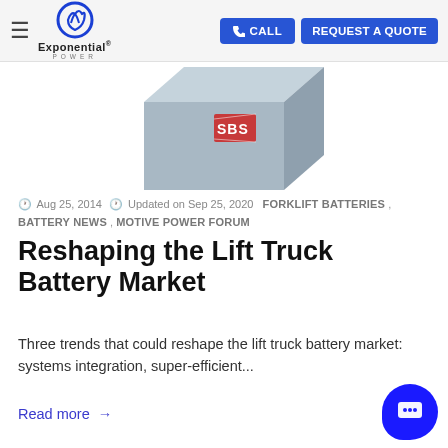Exponential Power — CALL | REQUEST A QUOTE
[Figure (photo): 3D rendered gray industrial battery box with SBS logo on the side, partially visible, cropped at top]
Aug 25, 2014  Updated on Sep 25, 2020  FORKLIFT BATTERIES , BATTERY NEWS , MOTIVE POWER FORUM
Reshaping the Lift Truck Battery Market
Three trends that could reshape the lift truck battery market: systems integration, super-efficient...
Read more →